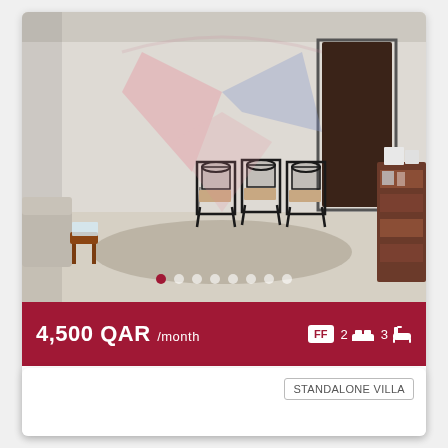[Figure (photo): Interior photo of a furnished living room with black metal chairs, a rug, and a dark wooden bookshelf. A watermark logo is overlaid on the image.]
4,500 QAR /month  FF  2 [bed icon]  3 [bath icon]
Al Khor
VG_0351 FULLY FURNISHED 2BHK @AL KHOR
STANDALONE VILLA